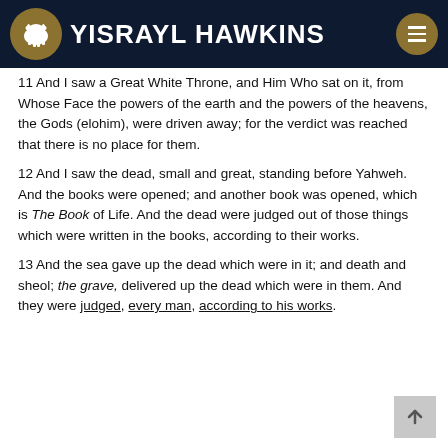YISRAYL HAWKINS
11 And I saw a Great White Throne, and Him Who sat on it, from Whose Face the powers of the earth and the powers of the heavens, the Gods (elohim), were driven away; for the verdict was reached that there is no place for them.
12 And I saw the dead, small and great, standing before Yahweh. And the books were opened; and another book was opened, which is The Book of Life. And the dead were judged out of those things which were written in the books, according to their works.
13 And the sea gave up the dead which were in it; and death and sheol; the grave, delivered up the dead which were in them. And they were judged, every man, according to his works.